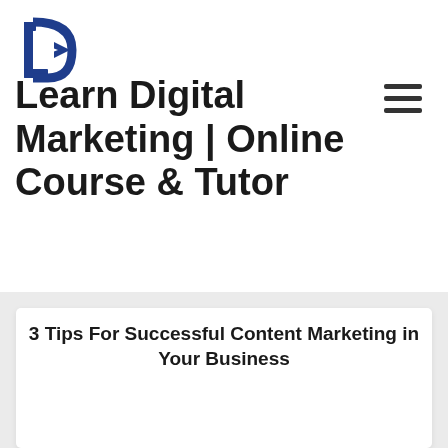[Figure (logo): Blue arrow/D logo icon for a digital marketing education site]
Learn Digital Marketing | Online Course & Tutor
[Figure (other): Hamburger menu icon (three horizontal lines)]
3 Tips For Successful Content Marketing in Your Business